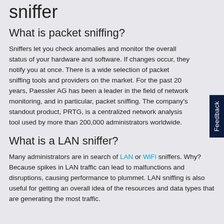sniffer
What is packet sniffing?
Sniffers let you check anomalies and monitor the overall status of your hardware and software. If changes occur, they notify you at once. There is a wide selection of packet sniffing tools and providers on the market. For the past 20 years, Paessler AG has been a leader in the field of network monitoring, and in particular, packet sniffing. The company's standout product, PRTG, is a centralized network analysis tool used by more than 200,000 administrators worldwide.
What is a LAN sniffer?
Many administrators are in search of LAN or WiFi sniffers. Why? Because spikes in LAN traffic can lead to malfunctions and disruptions, causing performance to plummet. LAN sniffing is also useful for getting an overall idea of the resources and data types that are generating the most traffic.